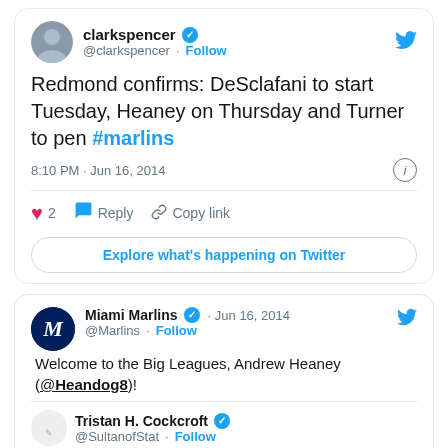[Figure (screenshot): Twitter/X tweet card from @clarkspencer with tweet text 'Redmond confirms: DeSclafani to start Tuesday, Heaney on Thursday and Turner to pen #marlins', posted 8:10 PM · Jun 16, 2014, with 2 likes, Reply, Copy link actions and an Explore button]
[Figure (screenshot): Twitter/X tweet card from Miami Marlins (@Marlins) Jun 16, 2014 saying 'Welcome to the Big Leagues, Andrew Heaney (@Heandog8)!' with a sub-tweet from Tristan H. Cockcroft (@SultanofStat) · Follow, and partial text 'And here he is! Another well worth the add']